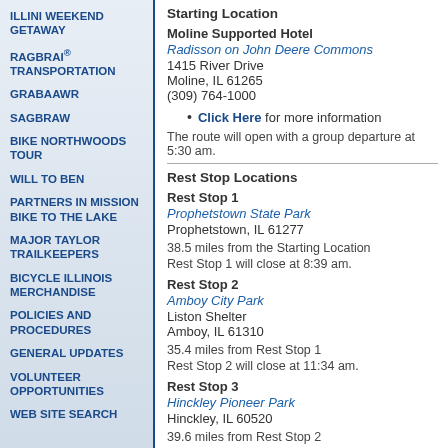ILLINI WEEKEND GETAWAY
RAGBRAI® TRANSPORTATION
GRABAAWR
SAGBRAW
BIKE NORTHWOODS TOUR
WILL TO BEN
PARTNERS IN MISSION BIKE TO THE LAKE
MAJOR TAYLOR TRAILKEEPERS
BICYCLE ILLINOIS MERCHANDISE
POLICIES AND PROCEDURES
GENERAL UPDATES
VOLUNTEER OPPORTUNITIES
WEB SITE SEARCH
Starting Location
Moline Supported Hotel
Radisson on John Deere Commons
1415 River Drive
Moline, IL 61265
(309) 764-1000
Click Here for more information
The route will open with a group departure at 5:30 am.
Rest Stop Locations
Rest Stop 1
Prophetstown State Park
Prophetstown, IL 61277
38.5 miles from the Starting Location
Rest Stop 1 will close at 8:39 am.
Rest Stop 2
Amboy City Park
Liston Shelter
Amboy, IL 61310
35.4 miles from Rest Stop 1
Rest Stop 2 will close at 11:34 am.
Rest Stop 3
Hinckley Pioneer Park
Hinckley, IL 60520
39.6 miles from Rest Stop 2